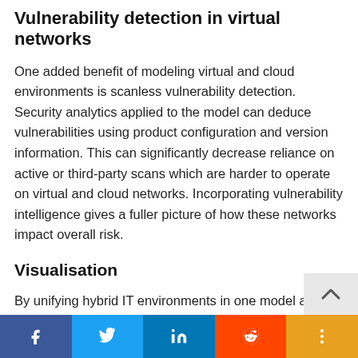Vulnerability detection in virtual networks
One added benefit of modeling virtual and cloud environments is scanless vulnerability detection. Security analytics applied to the model can deduce vulnerabilities using product configuration and version information. This can significantly decrease reliance on active or third-party scans which are harder to operate on virtual and cloud networks. Incorporating vulnerability intelligence gives a fuller picture of how these networks impact overall risk.
Visualisation
By unifying hybrid IT environments in one model and normalising their data, organisations can break down the barriers that traditionally existed between physical, virtual and cloud networks for comprehensive, streamlined se...